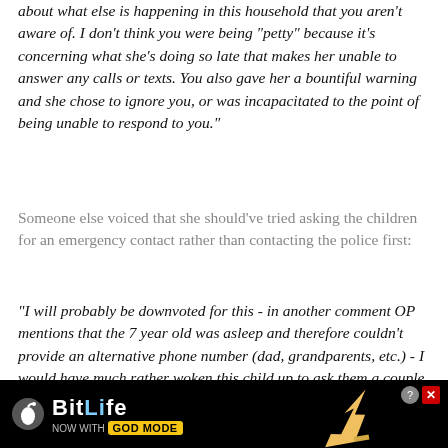about what else is happening in this household that you aren't aware of. I don't think you were being "petty" because it's concerning what she's doing so late that makes her unable to answer any calls or texts. You also gave her a bountiful warning and she chose to ignore you, or was incapacitated to the point of being unable to respond to you."
Someone else voiced that she should've tried asking the children for an emergency contact rather than contacting the police first:
"I will probably be downvoted for this - in another comment OP mentions that the 7 year old was asleep and therefore couldn't provide an alternative phone number (dad, grandparents, etc.) - I would have much rather woken this child up to ask them a couple questions to see if they could provide you those numbers (and hopefully then cared for by someone they know), rather than have them
[Figure (other): BitLife advertisement banner - black background with BitLife logo, sperm cell icon, 'NOW WITH GOD MODE' text in yellow badge, pointing hand illustration, close (X) and help (?) buttons]